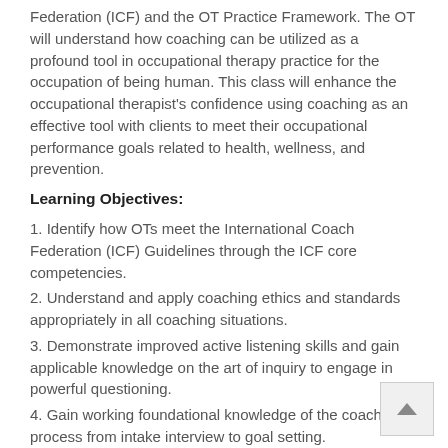Federation (ICF) and the OT Practice Framework. The OT will understand how coaching can be utilized as a profound tool in occupational therapy practice for the occupation of being human. This class will enhance the occupational therapist's confidence using coaching as an effective tool with clients to meet their occupational performance goals related to health, wellness, and prevention.
Learning Objectives:
1. Identify how OTs meet the International Coach Federation (ICF) Guidelines through the ICF core competencies.
2. Understand and apply coaching ethics and standards appropriately in all coaching situations.
3. Demonstrate improved active listening skills and gain applicable knowledge on the art of inquiry to engage in powerful questioning.
4. Gain working foundational knowledge of the coaching process from intake interview to goal setting.
5. Understands the process to develop and maintain an